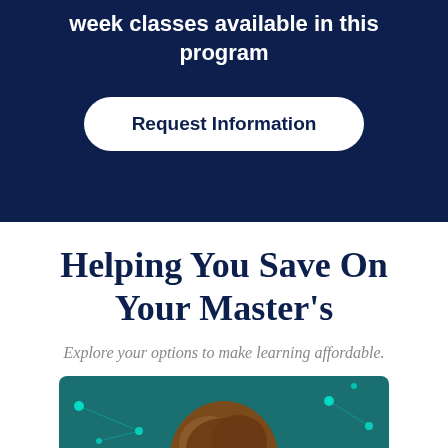week classes available in this program
Request Information
Helping You Save On Your Master's
Explore your options to make learning affordable.
[Figure (photo): Person with brown hair against a teal neural network background]